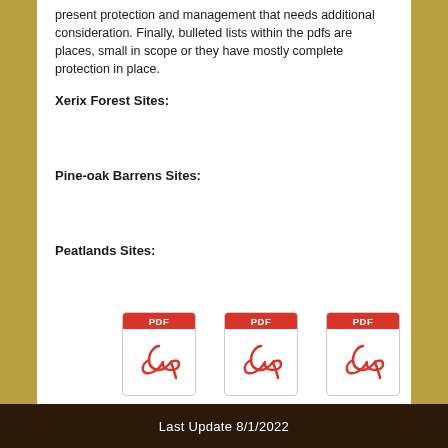present protection and management that needs additional consideration. Finally, bulleted lists within the pdfs are places, small in scope or they have mostly complete protection in place.
Xerix Forest Sites:
Pine-oak Barrens Sites:
Peatlands Sites:
[Figure (other): Three PDF file icons arranged in a row]
Last Update 8/1/2022